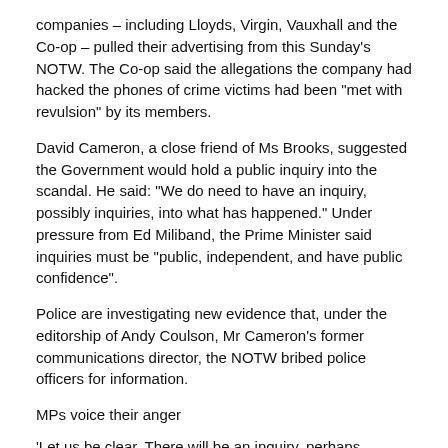companies – including Lloyds, Virgin, Vauxhall and the Co-op – pulled their advertising from this Sunday's NOTW. The Co-op said the allegations the company had hacked the phones of crime victims had been "met with revulsion" by its members.
David Cameron, a close friend of Ms Brooks, suggested the Government would hold a public inquiry into the scandal. He said: "We do need to have an inquiry, possibly inquiries, into what has happened." Under pressure from Ed Miliband, the Prime Minister said inquiries must be "public, independent, and have public confidence".
Police are investigating new evidence that, under the editorship of Andy Coulson, Mr Cameron's former communications director, the NOTW bribed police officers for information.
MPs voice their anger
'Let us be clear. There will be an inquiry, perhaps inquiries, into events. It is no longer just celebrities and politicians, but murder victims. The whole country is appalled.'
David Cameron